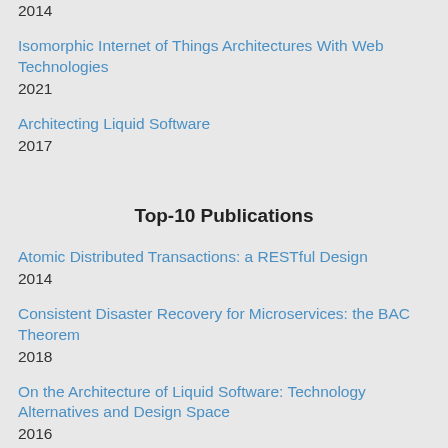2014
Isomorphic Internet of Things Architectures With Web Technologies
2021
Architecting Liquid Software
2017
Top-10 Publications
Atomic Distributed Transactions: a RESTful Design
2014
Consistent Disaster Recovery for Microservices: the BAC Theorem
2018
On the Architecture of Liquid Software: Technology Alternatives and Design Space
2016